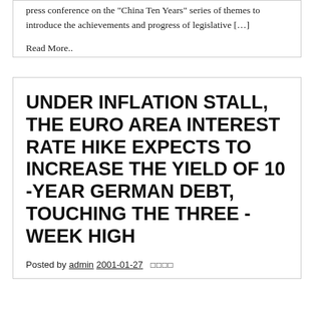press conference on the "China Ten Years" series of themes to introduce the achievements and progress of legislative […]
Read More..
UNDER INFLATION STALL, THE EURO AREA INTEREST RATE HIKE EXPECTS TO INCREASE THE YIELD OF 10 -YEAR GERMAN DEBT, TOUCHING THE THREE -WEEK HIGH
Posted by admin 2001-01-27 □□□□